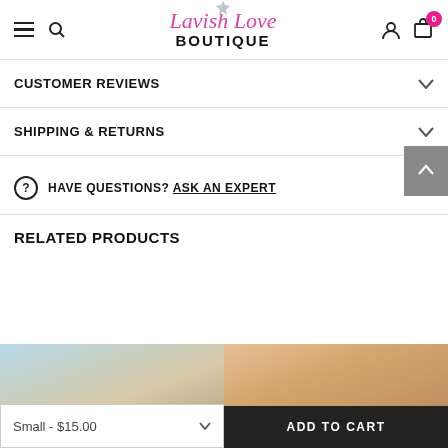Lavish Love BOUTIQUE — navigation header with hamburger menu, search, user icon, cart (0)
CUSTOMER REVIEWS
SHIPPING & RETURNS
HAVE QUESTIONS? ASK AN EXPERT
RELATED PRODUCTS
[Figure (photo): Woman wearing floral outfit, product photo left]
Small - $15.00
[Figure (photo): Woman wearing clothing, product photo right]
ADD TO CART